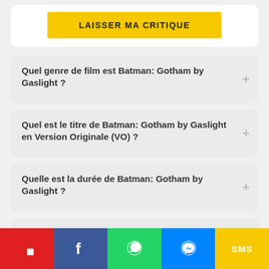LAISSER MA CRITIQUE
Quel genre de film est Batman: Gotham by Gaslight ?
Quel est le titre de Batman: Gotham by Gaslight en Version Originale (VO) ?
Quelle est la durée de Batman: Gotham by Gaslight ?
Quand est sorti Batman: Gotham by Gaslight en France ?
Flipboard | Facebook | WhatsApp | Messenger | SMS